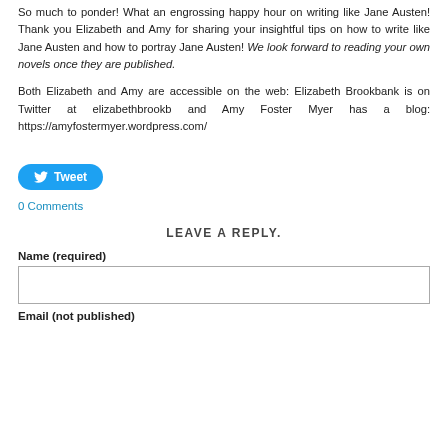So much to ponder! What an engrossing happy hour on writing like Jane Austen! Thank you Elizabeth and Amy for sharing your insightful tips on how to write like Jane Austen and how to portray Jane Austen! We look forward to reading your own novels once they are published.
Both Elizabeth and Amy are accessible on the web: Elizabeth Brookbank is on Twitter at elizabethbrookb and Amy Foster Myer has a blog: https://amyfostermyer.wordpress.com/
[Figure (other): Tweet button — a blue rounded pill button with Twitter bird icon and the word Tweet]
0 Comments
LEAVE A REPLY.
Name (required)
Email (not published)